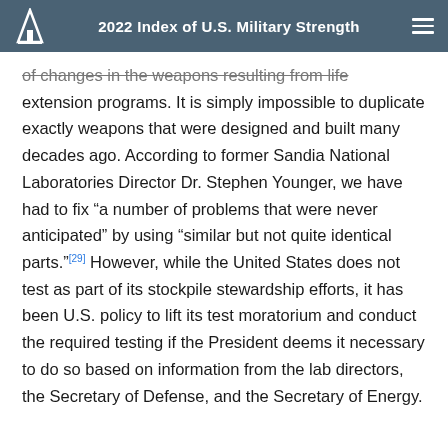2022 Index of U.S. Military Strength
of changes in the weapons resulting from life extension programs. It is simply impossible to duplicate exactly weapons that were designed and built many decades ago. According to former Sandia National Laboratories Director Dr. Stephen Younger, we have had to fix “a number of problems that were never anticipated” by using “similar but not quite identical parts.”[29] However, while the United States does not test as part of its stockpile stewardship efforts, it has been U.S. policy to lift its test moratorium and conduct the required testing if the President deems it necessary to do so based on information from the lab directors, the Secretary of Defense, and the Secretary of Energy.